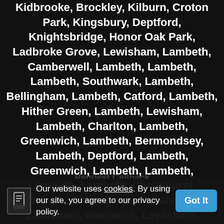Kidbrooke, Brockley, Kilburn, Croton Park, Kingsbury, Deptford, Knightsbridge, Honor Oak Park, Ladbroke Grove, Lewisham, Lambeth, Camberwell, Lambeth, Lambeth, Lambeth, Southwark, Lambeth, Bellingham, Lambeth, Catford, Lambeth, Hither Green, Lambeth, Lewisham, Lambeth, Charlton, Lambeth, Greenwich, Lambeth, Bermondsey, Lambeth, Deptford, Lambeth, Greenwich, Lambeth, Lambeth, Lambeth, Lambeth, Chislehurst, Lambeth, Eltham, Lee, Mottingham, Lewisham, Woolwich, Lewisham, Greenwich, Lewisham, Lewisham, Lewisham, Kennington, Lewisham, Lambeth, Lewisham,
Our website uses cookies. By using our site, you agree to our privacy policy. Got It